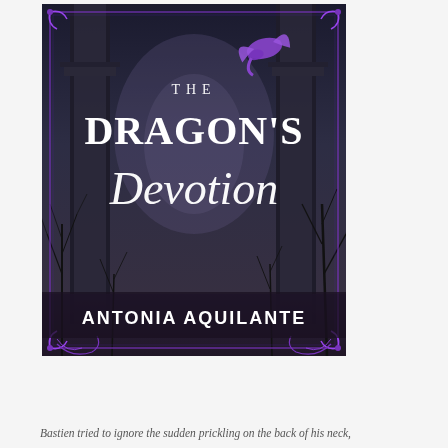[Figure (illustration): Book cover for 'The Dragon's Devotion' by Antonia Aquilante. Dark gothic fantasy cover featuring ancient stone columns, bare winter trees, a misty/stormy sky, a purple dragon silhouette in the upper right, and purple ornamental border flourishes. Title text reads 'THE DRAGON'S DEVOTION' in large serif and script lettering. Author name 'ANTONIA AQUILANTE' across the bottom.]
Bastien tried to ignore the sudden prickling on the back of his neck,